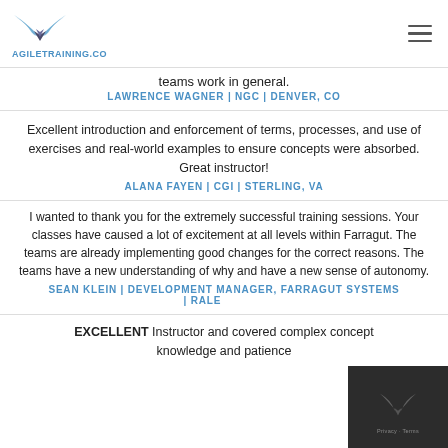AGILETRAINING.CO
teams work in general.
LAWRENCE WAGNER | NGC | DENVER, CO
Excellent introduction and enforcement of terms, processes, and use of exercises and real-world examples to ensure concepts were absorbed. Great instructor!
ALANA FAYEN | CGI | STERLING, VA
I wanted to thank you for the extremely successful training sessions. Your classes have caused a lot of excitement at all levels within Farragut. The teams are already implementing good changes for the correct reasons. The teams have a new understanding of why and have a new sense of autonomy.
SEAN KLEIN | DEVELOPMENT MANAGER, FARRAGUT SYSTEMS | RALE...
EXCELLENT Instructor and covered complex concept knowledge and patience